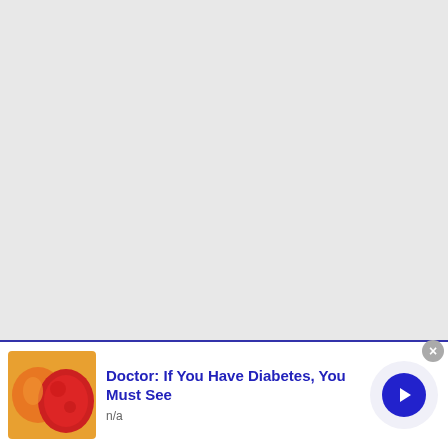[Figure (other): Large light gray placeholder content area taking up most of the page]
[Figure (photo): Advertisement banner showing orange and red fruit/food items (possibly gummy candies or fruit slices) with blue text advertisement for diabetes information]
Doctor: If You Have Diabetes, You Must See
n/a